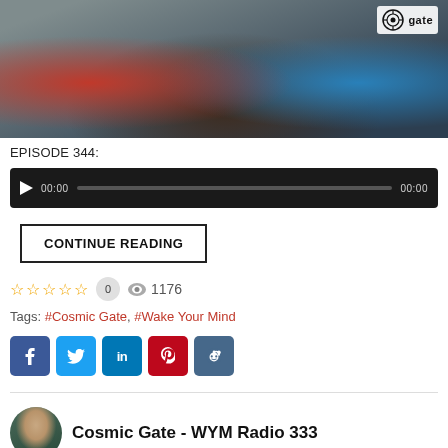[Figure (photo): Two people seated with Cosmic Gate logo in upper right]
EPISODE 344:
[Figure (other): Audio player with play button, timecodes 00:00 and 00:00, and progress bar]
CONTINUE READING
☆☆☆☆☆  0   👁 1176
Tags:  #Cosmic Gate, #Wake Your Mind
[Figure (other): Social sharing buttons: Facebook, Twitter, LinkedIn, Pinterest, Reddit]
[Figure (photo): Avatar thumbnail of person with sunglasses]
Cosmic Gate - WYM Radio 333